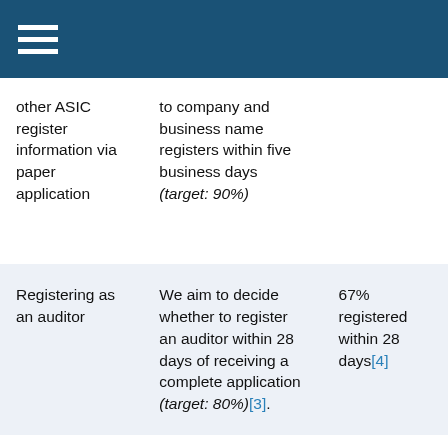| Service | Standard | Result |
| --- | --- | --- |
| other ASIC register information via paper application | to company and business name registers within five business days (target: 90%) |  |
| Registering as an auditor | We aim to decide whether to register an auditor within 28 days of receiving a complete application (target: 80%)[3]. | 67% registered within 28 days[4] |
| Registering as a liquidator | We aim to decide whether to register a | 89% of liquidator applications |